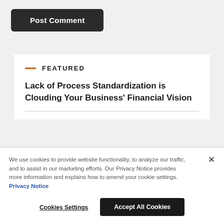[Figure (screenshot): Post Comment button — dark rounded rectangle with white text]
FEATURED
Lack of Process Standardization is Clouding Your Business' Financial Vision
We use cookies to provide website functionality, to analyze our traffic, and to assist in our marketing efforts. Our Privacy Notice provides more information and explains how to amend your cookie settings. Privacy Notice
Cookies Settings
Accept All Cookies